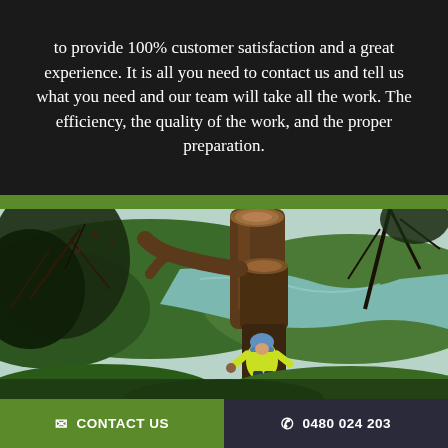to provide 100% customer satisfaction and a great experience. It is all you need to contact us and tell us what you need and our team will take all the work. The efficiency, the quality of the work, and the proper preparation.
[Figure (photo): An arborist in a high-visibility yellow jacket and helmet working on a large tree trunk, with a river and green hills visible in the background.]
CONTACT US
0480 024 203